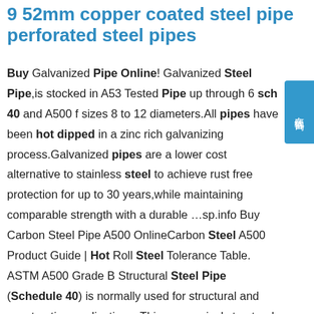9 52mm copper coated steel pipe perforated steel pipes
Buy Galvanized Pipe Online! Galvanized Steel Pipe,is stocked in A53 Tested Pipe up through 6 sch 40 and A500 for sizes 8 to 12 diameters.All pipes have been hot dipped in a zinc rich galvanizing process.Galvanized pipes are a lower cost alternative to stainless steel to achieve rust free protection for up to 30 years,while maintaining comparable strength with a durable …sp.info Buy Carbon Steel Pipe A500 OnlineCarbon Steel A500 Product Guide | Hot Roll Steel Tolerance Table. ASTM A500 Grade B Structural Steel Pipe (Schedule 40) is normally used for structural and construction applications. This economical structural grade pipe has a high strength-to-weight ratio, and works particularly well for curved structural applications because it has good ductility, bends well, and is not as prone to fracture as 335 in tube sizes. Steel